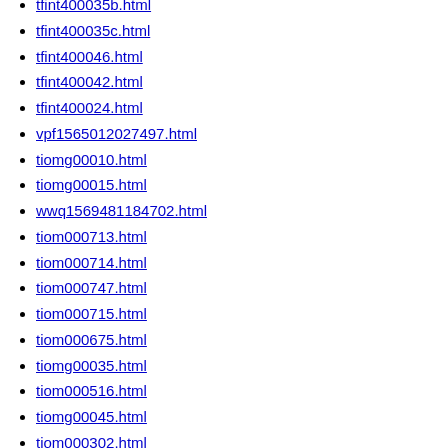tfint400035b.html
tfint400035c.html
tfint400046.html
tfint400042.html
tfint400024.html
vpf1565012027497.html
tiomg00010.html
tiomg00015.html
wwq1569481184702.html
tiom000713.html
tiom000714.html
tiom000747.html
tiom000715.html
tiom000675.html
tiomg00035.html
tiom000516.html
tiomg00045.html
tiom000302.html
tiomg00118.html
tiomg00040.html
tiomg00050.html
tiomg00020.html
tiom000653.html
tiom000550.html
tiom000555.html (partial)